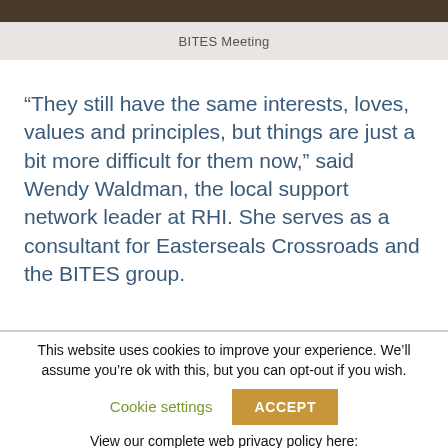[Figure (photo): Top portion of a photo showing a dark surface, partially cropped]
BITES Meeting
“They still have the same interests, loves, values and principles, but things are just a bit more difficult for them now,” said Wendy Waldman, the local support network leader at RHI. She serves as a consultant for Easterseals Crossroads and the BITES group.
This website uses cookies to improve your experience. We’ll assume you’re ok with this, but you can opt-out if you wish.
Cookie settings
ACCEPT
View our complete web privacy policy here:
https://www.eastersealstech.com/privacy-practices/